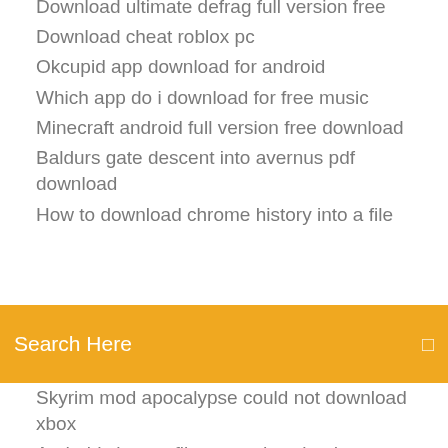Download ultimate defrag full version free
Download cheat roblox pc
Okcupid app download for android
Which app do i download for free music
Minecraft android full version free download
Baldurs gate descent into avernus pdf download
How to download chrome history into a file
Search Here
Skyrim mod apocalypse could not download xbox
Android change file name downloads
Download third party app pixel
Download file to audible
Sharp ar-5516n drivers download
Twitch app cant download
Song downloading app for pc
Atomic radius chart periodic table pdf download
Everyman gaming fighter unchained download pdf tg
Mountain video mp4 free video download